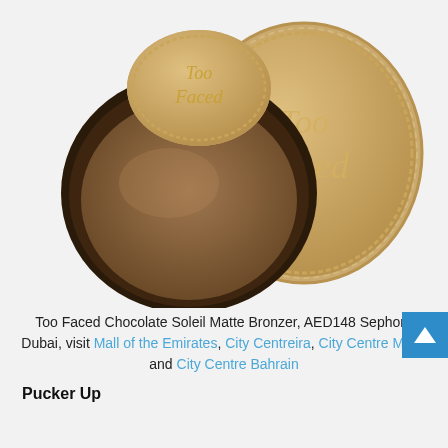[Figure (photo): Too Faced Chocolate Soleil Matte Bronzer compact shown open with brown powder pan visible, alongside the closed gold lid embossed with 'Too Faced' in script lettering and decorative border pattern.]
Too Faced Chocolate Soleil Matte Bronzer, AED148 Sephora Dubai, visit Mall of the Emirates, City Centre Deira, City Centre Mirdif and City Centre Bahrain
Pucker Up